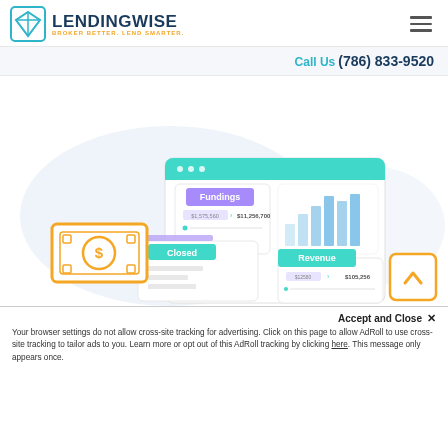LENDINGWISE — BROKER BETTER. LEND SMARTER.
Call Us (786) 833-9520
[Figure (illustration): Dashboard UI illustration showing Fundings ($1,575,560 > $11,256,700) and Revenue ($12580 > $105,256) panels with a bar chart, a money/dollar bill icon, a Closed label card, and decorative cloud-like background shapes in light blue/purple.]
Accept and Close ✕
Your browser settings do not allow cross-site tracking for advertising. Click on this page to allow AdRoll to use cross-site tracking to tailor ads to you. Learn more or opt out of this AdRoll tracking by clicking here. This message only appears once.